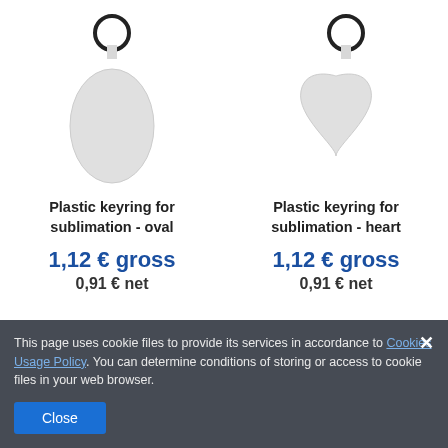[Figure (illustration): Plastic keyring for sublimation - oval shape with metal ring, white/light gray color]
Plastic keyring for sublimation - oval
1,12 € gross
0,91 € net
[Figure (illustration): Plastic keyring for sublimation - heart shape with metal ring, white/light gray color]
Plastic keyring for sublimation - heart
1,12 € gross
0,91 € net
This page uses cookie files to provide its services in accordance to Cookies Usage Policy. You can determine conditions of storing or access to cookie files in your web browser.